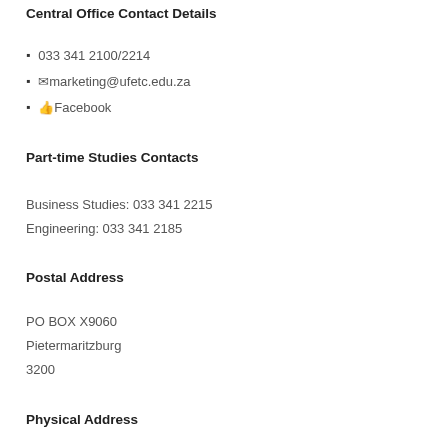Central Office Contact Details
033 341 2100/2214
marketing@ufetc.edu.za
Facebook
Part-time Studies Contacts
Business Studies: 033 341 2215
Engineering: 033 341 2185
Postal Address
PO BOX X9060
Pietermaritzburg
3200
Physical Address